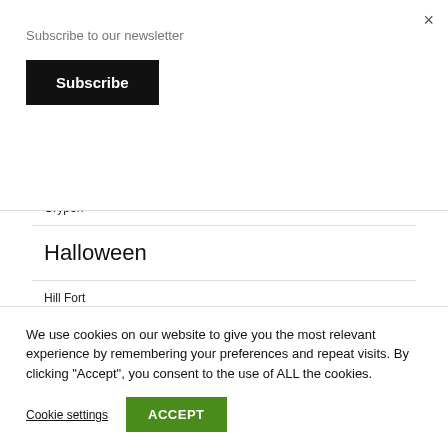Subscribe to our newsletter
Subscribe
×
| Griffin |
| Grypon |
| Halloween |
| Hill Fort |
We use cookies on our website to give you the most relevant experience by remembering your preferences and repeat visits. By clicking "Accept", you consent to the use of ALL the cookies.
Cookie settings
ACCEPT